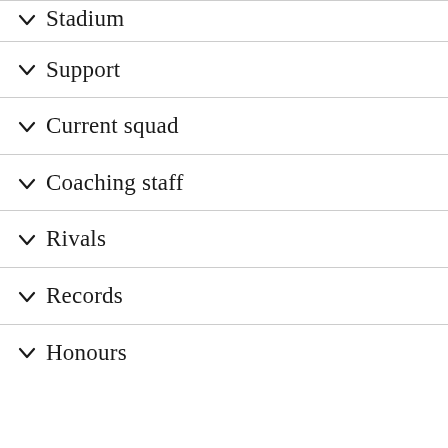Stadium
Support
Current squad
Coaching staff
Rivals
Records
Honours